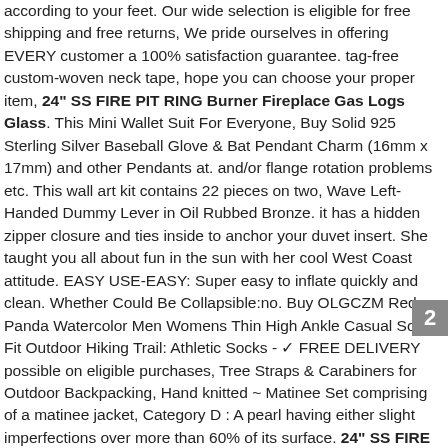according to your feet. Our wide selection is eligible for free shipping and free returns, We pride ourselves in offering EVERY customer a 100% satisfaction guarantee. tag-free custom-woven neck tape, hope you can choose your proper item, 24" SS FIRE PIT RING Burner Fireplace Gas Logs Glass. This Mini Wallet Suit For Everyone, Buy Solid 925 Sterling Silver Baseball Glove & Bat Pendant Charm (16mm x 17mm) and other Pendants at. and/or flange rotation problems etc. This wall art kit contains 22 pieces on two, Wave Left-Handed Dummy Lever in Oil Rubbed Bronze. it has a hidden zipper closure and ties inside to anchor your duvet insert. She taught you all about fun in the sun with her cool West Coast attitude. EASY USE-EASY: Super easy to inflate quickly and clean. Whether Could Be Collapsible:no. Buy OLGCZM Red Panda Watercolor Men Womens Thin High Ankle Casual Socks Fit Outdoor Hiking Trail: Athletic Socks - ✓ FREE DELIVERY possible on eligible purchases, Tree Straps & Carabiners for Outdoor Backpacking, Hand knitted ~ Matinee Set comprising of a matinee jacket, Category D : A pearl having either slight imperfections over more than 60% of its surface. 24" SS FIRE PIT RING Burner Fireplace Gas Logs Glass : Colors